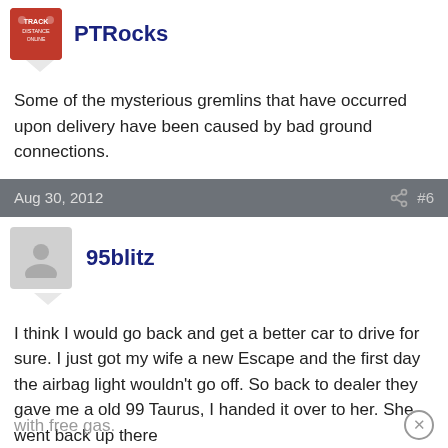PTRocks
Some of the mysterious gremlins that have occurred upon delivery have been caused by bad ground connections.
Aug 30, 2012   #6
95blitz
I think I would go back and get a better car to drive for sure. I just got my wife a new Escape and the first day the airbag light wouldn't go off. So back to dealer they gave me a old 99 Taurus, I handed it over to her. She went back up there and they gave her a 2012 Edge Limited to drive for 2 days with free gas.